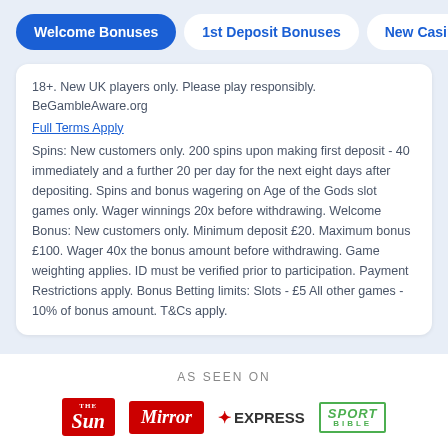Welcome Bonuses | 1st Deposit Bonuses | New Casinos
18+. New UK players only. Please play responsibly. BeGambleAware.org
Full Terms Apply
Spins: New customers only. 200 spins upon making first deposit - 40 immediately and a further 20 per day for the next eight days after depositing. Spins and bonus wagering on Age of the Gods slot games only. Wager winnings 20x before withdrawing. Welcome Bonus: New customers only. Minimum deposit £20. Maximum bonus £100. Wager 40x the bonus amount before withdrawing. Game weighting applies. ID must be verified prior to participation. Payment Restrictions apply. Bonus Betting limits: Slots - £5 All other games - 10% of bonus amount. T&Cs apply.
AS SEEN ON
[Figure (logo): Media outlet logos: The Sun, Mirror, Express, Sport Bible]